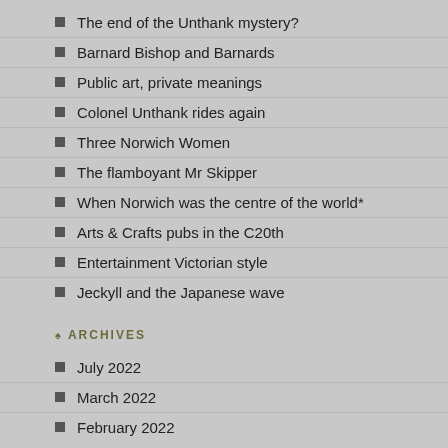The end of the Unthank mystery?
Barnard Bishop and Barnards
Public art, private meanings
Colonel Unthank rides again
Three Norwich Women
The flamboyant Mr Skipper
When Norwich was the centre of the world*
Arts & Crafts pubs in the C20th
Entertainment Victorian style
Jeckyll and the Japanese wave
ARCHIVES
July 2022
March 2022
February 2022